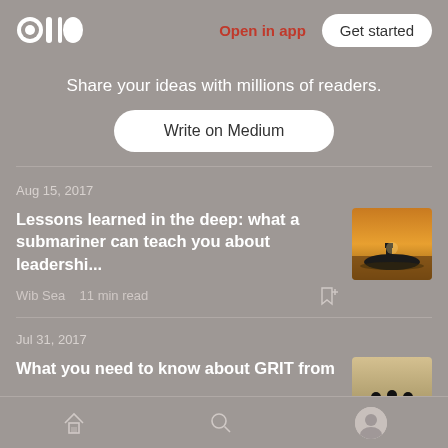Open in app | Get started
Share your ideas with millions of readers.
Write on Medium
Aug 15, 2017
Lessons learned in the deep: what a submariner can teach you about leadershi...
Wib Sea   11 min read
[Figure (photo): Submarine silhouette against an orange sunset sky]
Jul 31, 2017
What you need to know about GRIT from
[Figure (photo): Silhouettes of three people against a bright sky]